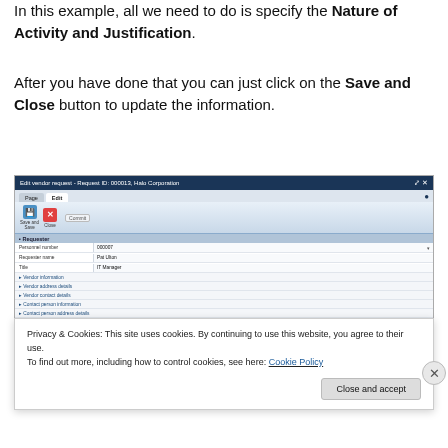In this example, all we need to do is specify the Nature of Activity and Justification.
After you have done that you can just click on the Save and Close button to update the information.
[Figure (screenshot): Screenshot of 'Edit vendor request' form in a web application showing Request ID 000013 for Halo Corporation. The form has a dark blue title bar, Page and Edit tabs, a toolbar with Save and Close buttons, and a form with sections including Requester (Personnel number: 000007, Requester name: Pat Ulton, Title: IT Manager), collapsed sections for Vendor information, Vendor address details, Vendor contact details, Contact person information, Contact person address details, Contact person contact details, Procurement details, and Business justification section with Nature of activity and Justification field containing 'Need them to bid on a project'.]
Privacy & Cookies: This site uses cookies. By continuing to use this website, you agree to their use.
To find out more, including how to control cookies, see here: Cookie Policy
Close and accept